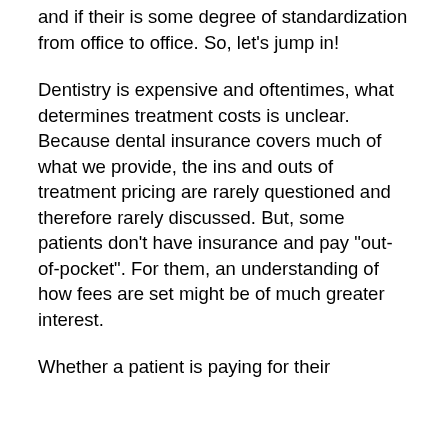and if their is some degree of standardization from office to office. So, let's jump in!
Dentistry is expensive and oftentimes, what determines treatment costs is unclear. Because dental insurance covers much of what we provide, the ins and outs of treatment pricing are rarely questioned and therefore rarely discussed. But, some patients don't have insurance and pay "out-of-pocket". For them, an understanding of how fees are set might be of much greater interest.
Whether a patient is paying for their